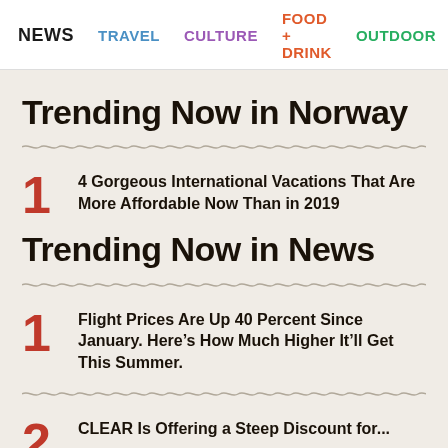NEWS  TRAVEL  CULTURE  FOOD + DRINK  OUTDOOR
Trending Now in Norway
1  4 Gorgeous International Vacations That Are More Affordable Now Than in 2019
Trending Now in News
1  Flight Prices Are Up 40 Percent Since January. Here’s How Much Higher It’ll Get This Summer.
2  CLEAR Is Offering a Steep Discount for...